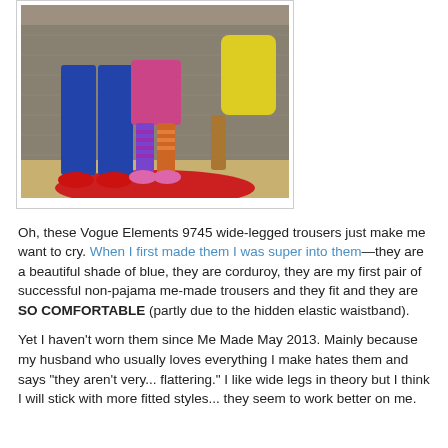[Figure (photo): Two people (adult and child) standing on a red circular rug in front of a patterned sofa. The adult wears wide-legged blue trousers and red shoes; the child wears a colorful top with striped leggings and pink shoes. A third person in yellow is partially visible seated on the sofa.]
Oh, these Vogue Elements 9745 wide-legged trousers just make me want to cry. When I first made them I was super into them—they are a beautiful shade of blue, they are corduroy, they are my first pair of successful non-pajama me-made trousers and they fit and they are SO COMFORTABLE (partly due to the hidden elastic waistband).
Yet I haven't worn them since Me Made May 2013. Mainly because my husband who usually loves everything I make hates them and says "they aren't very... flattering." I like wide legs in theory but I think I will stick with more fitted styles... they seem to work better on me.